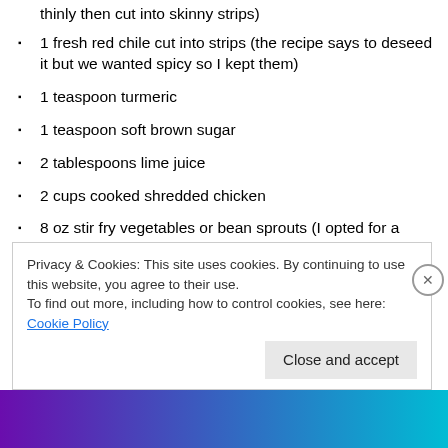thinly then cut into skinny strips)
1 fresh red chile cut into strips (the recipe says to deseed it but we wanted spicy so I kept them)
1 teaspoon turmeric
1 teaspoon soft brown sugar
2 tablespoons lime juice
2 cups cooked shredded chicken
8 oz stir fry vegetables or bean sprouts (I opted for a handful of veggies and a handful of bean sprouts
2 – 3 tablespoons chopped cilantro (to serve)
Privacy & Cookies: This site uses cookies. By continuing to use this website, you agree to their use. To find out more, including how to control cookies, see here: Cookie Policy